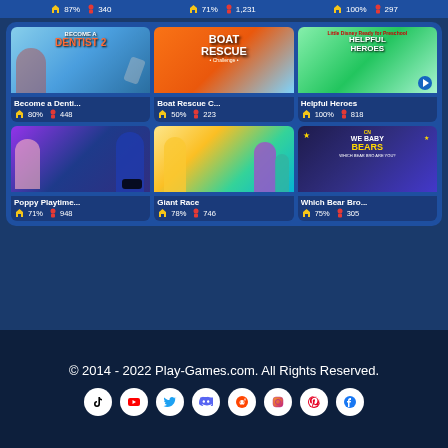87% 340  71% 1,231  100% 297
[Figure (screenshot): Become a Dentist 2 game thumbnail - cartoon dentist scene]
[Figure (screenshot): Boat Rescue Challenge game thumbnail - orange boat rescue game]
[Figure (screenshot): Helpful Heroes game thumbnail - cartoon superheroes]
Become a Denti...
Boat Rescue C...
Helpful Heroes
80% 448  50% 223  100% 818
[Figure (screenshot): Poppy Playtime game thumbnail - cartoon horror characters]
[Figure (screenshot): Giant Race game thumbnail - colorful 3D racing characters]
[Figure (screenshot): Which Bear Bro Are You? - We Baby Bears Cartoon Network game]
Poppy Playtime...
Giant Race
Which Bear Bro...
71% 948  78% 746  75% 305
© 2014 - 2022 Play-Games.com. All Rights Reserved.